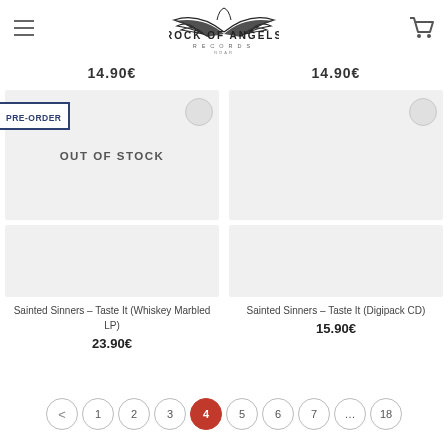Rock of Angels Records
14.90€  14.90€
[Figure (screenshot): PRE-ORDER badge on product card, OUT OF STOCK label, two product image placeholder areas (light gray)]
Sainted Sinners – Taste It (Whiskey Marbled LP)
23.90€
Sainted Sinners – Taste It (Digipack CD)
15.90€
< 1 2 3 4 5 6 7 ... 18